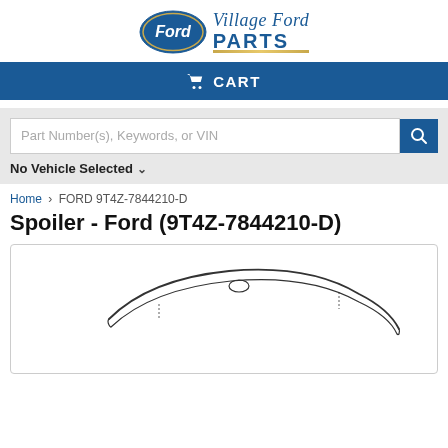[Figure (logo): Village Ford Parts logo with Ford oval badge and 'Village Ford PARTS' text]
CART
Part Number(s), Keywords, or VIN
No Vehicle Selected
Home > FORD 9T4Z-7844210-D
Spoiler - Ford (9T4Z-7844210-D)
[Figure (illustration): Line drawing illustration of a Ford rear spoiler part (9T4Z-7844210-D), shown from above at an angle]